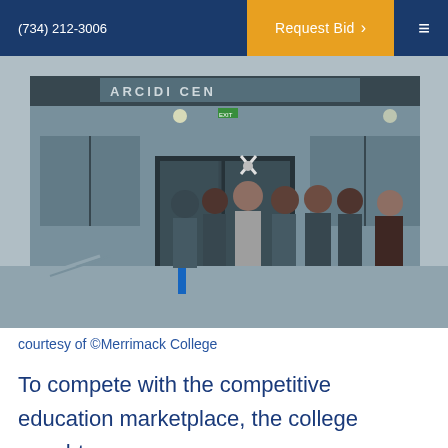(734) 212-3006   Request Bid >   ≡
[Figure (photo): Group of people standing in front of the Arcidi Center building entrance at a ribbon-cutting ceremony. A person in the center holds large scissors aloft while others applaud. Building signage partially reads 'ARCIDI CEN...']
courtesy of ©Merrimack College
To compete with the competitive education marketplace, the college sought a